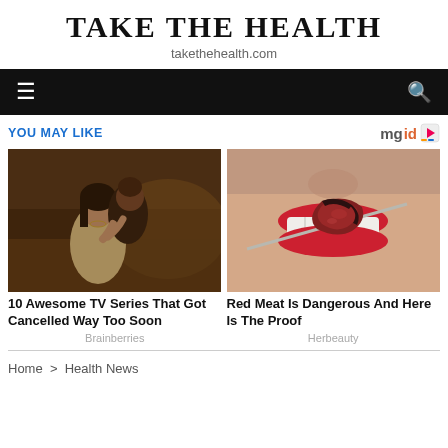TAKE THE HEALTH
takethehealth.com
Navigation bar with hamburger menu and search icon
YOU MAY LIKE
[Figure (photo): Two people in medieval costume, a woman in a light dress and a man behind her]
10 Awesome TV Series That Got Cancelled Way Too Soon
Brainberries
[Figure (photo): Close-up of a woman with red lipstick eating a piece of red meat on a skewer]
Red Meat Is Dangerous And Here Is The Proof
Herbeauty
Home > Health News